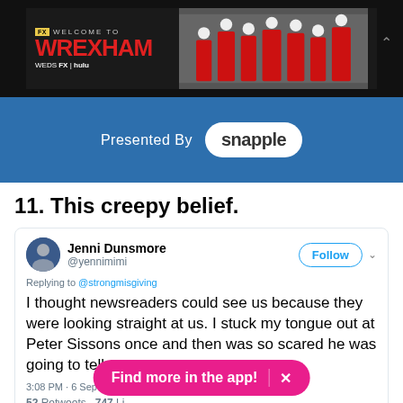[Figure (screenshot): Welcome to Wrexham TV advertisement banner with FX and Hulu logos, showing football team players]
[Figure (logo): Presented By Snapple sponsorship banner on blue background]
11. This creepy belief.
[Figure (screenshot): Tweet from Jenni Dunsmore (@yennimimi) replying to @strongmisgiving: I thought newsreaders could see us because they were looking straight at us. I stuck my tongue out at Peter Sissons once and then was so scared he was going to tell my mum. 3:08 PM - 6 Sep 2018. 52 Retweets 747 Likes.]
Find more in the app! X